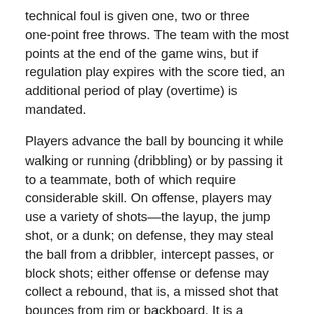technical foul is given one, two or three one-point free throws. The team with the most points at the end of the game wins, but if regulation play expires with the score tied, an additional period of play (overtime) is mandated.
Players advance the ball by bouncing it while walking or running (dribbling) or by passing it to a teammate, both of which require considerable skill. On offense, players may use a variety of shots—the layup, the jump shot, or a dunk; on defense, they may steal the ball from a dribbler, intercept passes, or block shots; either offense or defense may collect a rebound, that is, a missed shot that bounces from rim or backboard. It is a violation to lift or drag one's pivot foot without dribbling the ball, to carry it, or to hold the ball with both hands then resume dribbling.
The five players on each side fall into five playing positions. The tallest player is usually the center, the second-tallest